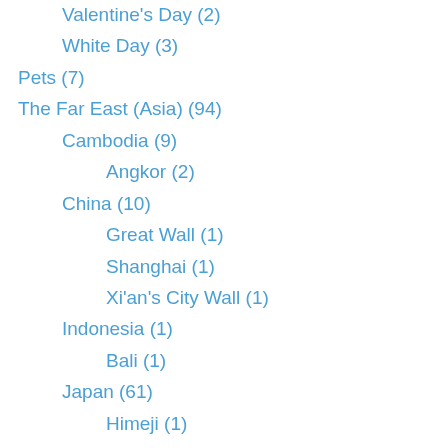Valentine's Day (2)
White Day (3)
Pets (7)
The Far East (Asia) (94)
Cambodia (9)
Angkor (2)
China (10)
Great Wall (1)
Shanghai (1)
Xi'an's City Wall (1)
Indonesia (1)
Bali (1)
Japan (61)
Himeji (1)
Hiroshima (5)
Ie Island (3)
Iriomote (2)
Ishigaki (3)
Koyasan (3)
Miyajima (4)